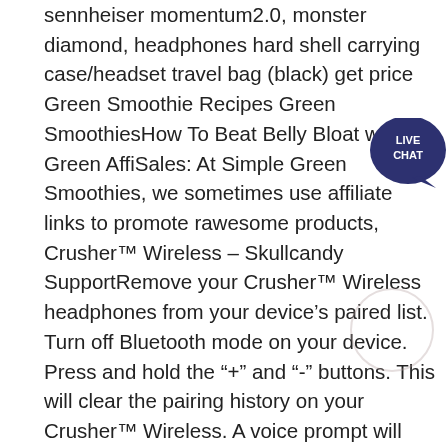sennheiser momentum2.0, monster diamond, headphones hard shell carrying case/headset travel bag (black) get price Green Smoothie Recipes Green SmoothiesHow To Beat Belly Bloat with a Green Affi… Sales: At Simple Green Smoothies, we sometimes use affiliate links to promote rawesome products, Crusher™ Wireless – Skullcandy SupportRemove your Crusher™ Wireless headphones from your device's paired list. Turn off Bluetooth mode on your device. Press and hold the "+" and "-" buttons. This will clear the pairing history on your Crusher™ Wireless. A voice prompt will say "Disconnected", the headphone will go into pairing mode, and a voice prompt will say "Pairing". Candy Crush Level 774 Cheats: How To Beat Level 774 Looking for Candy Crush level 774 cheats? Here is how to beat level 774 on Candy Crush Saga easily. To beat this level, you must crush Candy Crush Level 554 Cheats, Tips, and Strategy This is how you beat level 554 of Candy Crush Saga. Follow these Candy Crush cheats, tips and strategy and
[Figure (other): Live Chat button — dark navy circular speech bubble with 'LIVE CHAT' text in white]